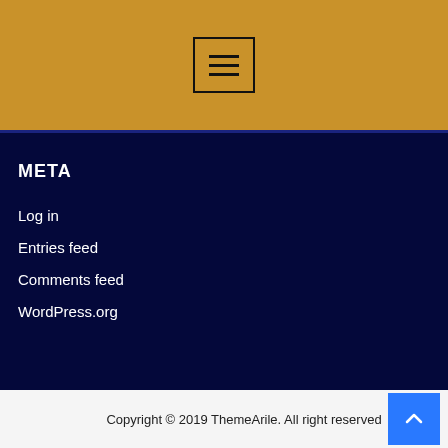[Figure (other): Hamburger menu button with three horizontal lines, inside a bordered box, on a golden/amber header bar]
META
Log in
Entries feed
Comments feed
WordPress.org
Copyright © 2019 ThemeArile. All right reserved